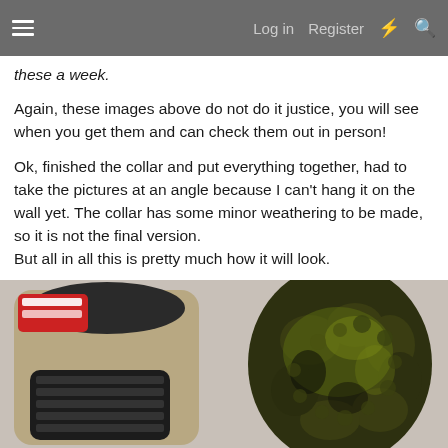≡   Log in   Register   ⚡   🔍
these a week.
Again, these images above do not do it justice, you will see when you get them and can check them out in person!
Ok, finished the collar and put everything together, had to take the pictures at an angle because I can't hang it on the wall yet. The collar has some minor weathering to be made, so it is not the final version.
But all in all this is pretty much how it will look.
Do people want it in a “used” state or as pristine?
[Figure (photo): Photo showing two objects side by side: on the left, a dark mechanical/electronic device component (possibly part of a prop) with a red label and ribbed/vented black sections on a tan/beige body; on the right, a sculpted alien-looking head or mask with dark green-gold metallic finish with organic bumpy textures.]